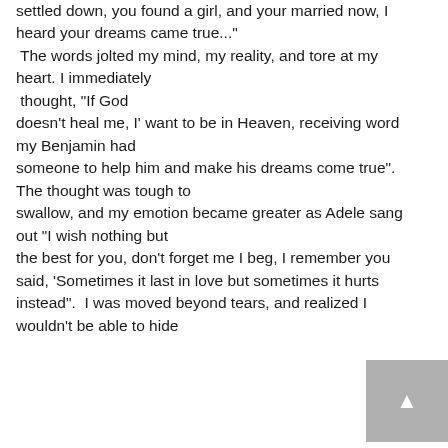settled down, you found a girl, and your married now, I heard your dreams came true..." The words jolted my mind, my reality, and tore at my heart. I immediately thought, "If God doesn't heal me, I' want to be in Heaven, receiving word my Benjamin had someone to help him and make his dreams come true". The thought was tough to swallow, and my emotion became greater as Adele sang out "I wish nothing but the best for you, don't forget me I beg, I remember you said, 'Sometimes it last in love but sometimes it hurts instead".  I was moved beyond tears, and realized I wouldn't be able to hide